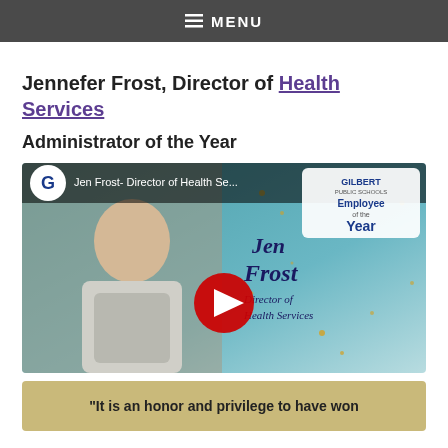MENU
Jennefer Frost, Director of Health Services
Administrator of the Year
[Figure (screenshot): YouTube video thumbnail showing Jen Frost, Director of Health Services, with text overlay 'Jen Frost- Director of Health Se...' and Gilbert Public Schools Employee of the Year badge. A play button is visible in the center.]
“It is an honor and privilege to have won